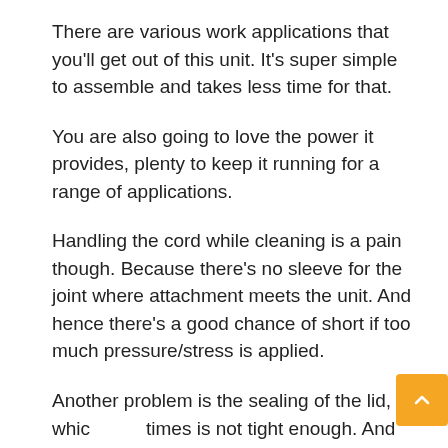There are various work applications that you'll get out of this unit. It's super simple to assemble and takes less time for that.
You are also going to love the power it provides, plenty to keep it running for a range of applications.
Handling the cord while cleaning is a pain though. Because there's no sleeve for the joint where attachment meets the unit. And hence there's a good chance of short if too much pressure/stress is applied.
Another problem is the sealing of the lid, whic times is not tight enough. And so, the suction